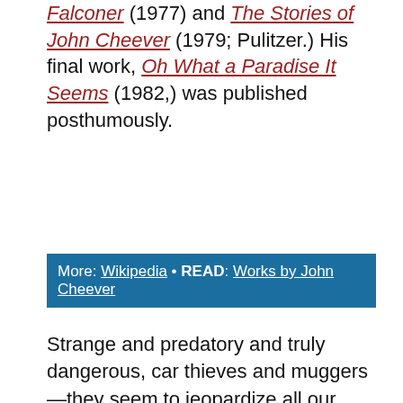Falconer (1977) and The Stories of John Cheever (1979; Pulitzer.) His final work, Oh What a Paradise It Seems (1982,) was published posthumously.
More: Wikipedia • READ: Works by John Cheever
Strange and predatory and truly dangerous, car thieves and muggers—they seem to jeopardize all our cherished concepts, even our self-esteem, our property rights, our powers of love, our laws and pleasures. The only relationship we seem to have with them is scorn or bewilderment, but they belong somewhere on the dark prairies of a country